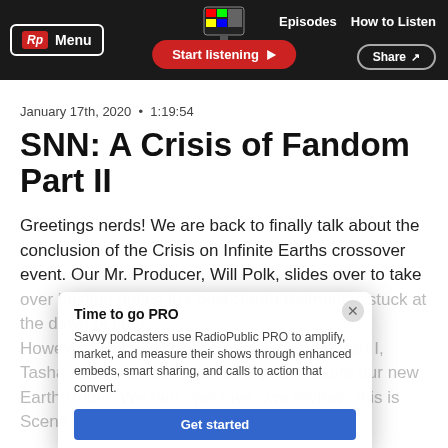Rp Menu | Start listening | Episodes | How to Listen | Share
January 17th, 2020 · 1:19:54
SNN: A Crisis of Fandom Part II
Greetings nerds! We are back to finally talk about the conclusion of the Crisis on Infinite Earths crossover event. Our Mr. Producer, Will Polk, slides over to take over hosting duties this week while our regular host Sarah Belmont is stuck at the dawn of time. However, we have our two paragons from Part I, Tasha and Veronica, back to help us explore our new Earth-Prime. We rant...we rave...we review...this is Scene N' Nerd.
[Figure (screenshot): Time to go PRO popup overlay with text: Savvy podcasters use RadioPublic PRO to amplify, market, and measure their shows through enhanced embeds, smart sharing, and calls to action that convert. Get started button in blue.]